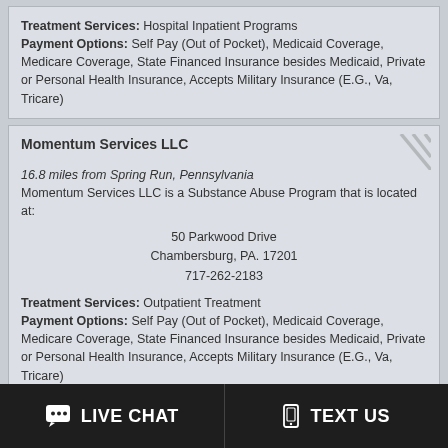Treatment Services: Hospital Inpatient Programs
Payment Options: Self Pay (Out of Pocket), Medicaid Coverage, Medicare Coverage, State Financed Insurance besides Medicaid, Private or Personal Health Insurance, Accepts Military Insurance (E.G., Va, Tricare)
Momentum Services LLC
16.8 miles from Spring Run, Pennsylvania
Momentum Services LLC is a Substance Abuse Program that is located at:
50 Parkwood Drive
Chambersburg, PA. 17201
717-262-2183
Treatment Services: Outpatient Treatment
Payment Options: Self Pay (Out of Pocket), Medicaid Coverage, Medicare Coverage, State Financed Insurance besides Medicaid, Private or Personal Health Insurance, Accepts Military Insurance (E.G., Va, Tricare)
Pyramid Healthcare
LIVE CHAT   TEXT US